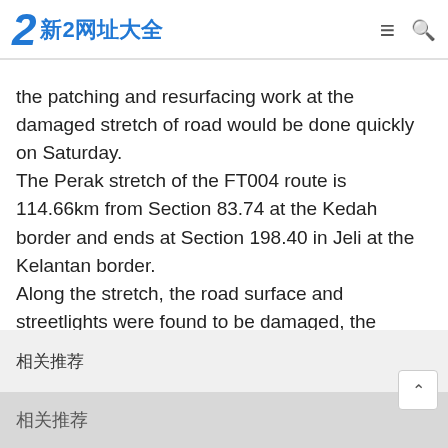新2网址大全
the patching and resurfacing work at the damaged stretch of road would be done quickly on Saturday.
The Perak stretch of the FT004 route is 114.66km from Section 83.74 at the Kedah border and ends at Section 198.40 in Jeli at the Kelantan border.
Along the stretch, the road surface and streetlights were found to be damaged, the painted road lines fading, and the drains also damaged, thus giving rise to stagnant water. Bernama, June 20, 2022.
上一篇:新2网址备用Sunbet官
相关推荐